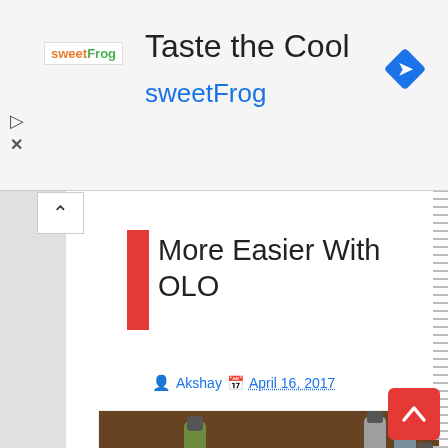[Figure (screenshot): SweetFrog advertisement banner with logo, 'Taste the Cool' heading, 'sweetFrog' subtitle, blue diamond navigation icon, and close/play controls]
More Easier With OLO
Akshay  April 16, 2017
[Figure (photo): OLO 3D printer device (black rectangular box) with smartphone showing OLO logo and multiple small resin bottles on a wooden table]